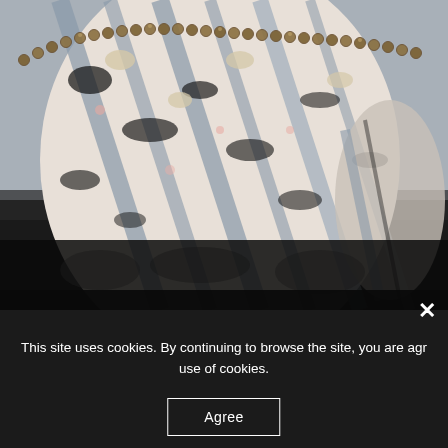[Figure (photo): Close-up photo of a patterned fabric garment with black, white, grey stripe and floral print, adorned with a row of bronze/gold metallic beads or studs along the neckline. The fabric has a complex mixed animal print and floral pattern. Background is grey. Bottom portion shows a dark/black textured fabric.]
× This site uses cookies. By continuing to browse the site, you are agreeing to our use of cookies.
Agree